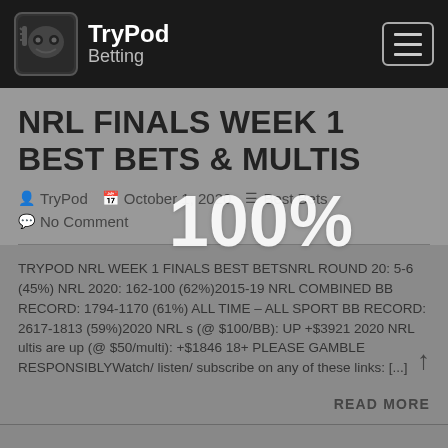TryPod Betting
NRL FINALS WEEK 1 BEST BETS & MULTIS
TryPod  October 1, 2020  Best Bets  No Comment
[Figure (infographic): 100% progress/loading overlay text displayed over article metadata]
TRYPOD NRL WEEK 1 FINALS BEST BETSNRL ROUND 20: 5-6 (45%) NRL 2020: 162-100 (62%)2015-19 NRL COMBINED BB RECORD: 1794-1170 (61%) ALL TIME – ALL SPORT BB RECORD: 2617-1813 (59%)2020 NRL s (@ $100/BB): UP +$3921 2020 NRL ultis are up (@ $50/multi): +$1846 18+ PLEASE GAMBLE RESPONSIBLYWatch/ listen/ subscribe on any of these links: [...]
READ MORE